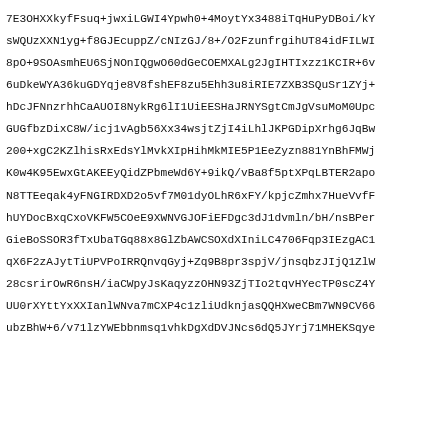7E3OHXXkyfFsuq+jwxiLGWI4Ypwh0+4MoytYx3488iTqHuPyDBoi/kY
sWQUzXXN1yg+f8GJEcuppZ/cNIzGJ/8+/O2FzunfrgihUT84idFILWI
8pO+9SOAsmhEU6SjNOnIQgwO60dGeCOEMXALg2JgIHTIxzz1KCIR+6v
6uDkeWYA36kuGDYqje8V8fshEF8zu5Ehh3u8iRIE7ZXB3SQuSr1ZYj+
hDcJFNnzrhhCaAUOI8NykRg6lI1UiEESHaJRNYSgtCmJgVsuMoM0Upc
GUGfbzDixC8W/icj1vAgb56Xx34wsjtZjI4iLhlJKPGDipXrhg6JqBw
200+xgC2KZlhisRxEdsYlMvkXIpHihMkMIE5P1EeZyzn881YnBhFMWj
K0w4K95EwxGtAKEEyQidZPbmeWd6Y+9ikQ/vBa8f5ptXPqLBTER2apo
N8TTEeqak4yFNGIRDXD2o5vf7M01dyOLhR6xFY/kpjcZmhx7HueVvfF
hUYDocBxqCxoVKFW5COeE9XWNVGJOFiEFDgc3dJ1dvmln/bH/nsBPer
GieBoSSOR3fTxUbaTGq88x8GlZbAWCSOXdXIniLC4706Fqp3IEzgAC1
qX6F2zAJytTiUPVPoIRRQnvqGyj+Zq9B8pr3spjV/jnsqbzJIjQ1ZlW
28csrirOwR6nsH/iaCWpyJsKaqyzzOHN93ZjTIo2tqvHYecTP0scZ4Y
UU0rXYttYxXXIanlWNva7mCXP4c1zliUdknjasQQHXweCBm7WN9CV66
ubzBhW+6/v71lzYWEbbnmsq1vhkDgXdDVJNcs6dQ5JYrj71MHEKSqye